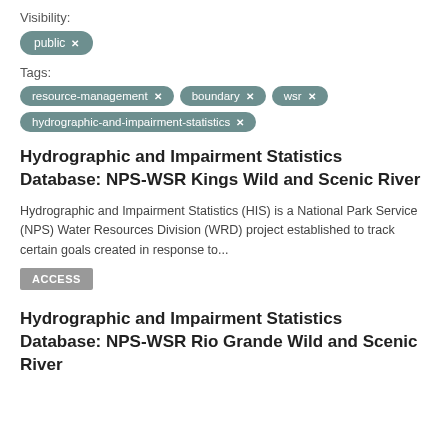Visibility:
public ×
Tags:
resource-management × boundary × wsr × hydrographic-and-impairment-statistics ×
Hydrographic and Impairment Statistics Database: NPS-WSR Kings Wild and Scenic River
Hydrographic and Impairment Statistics (HIS) is a National Park Service (NPS) Water Resources Division (WRD) project established to track certain goals created in response to...
ACCESS
Hydrographic and Impairment Statistics Database: NPS-WSR Rio Grande Wild and Scenic River